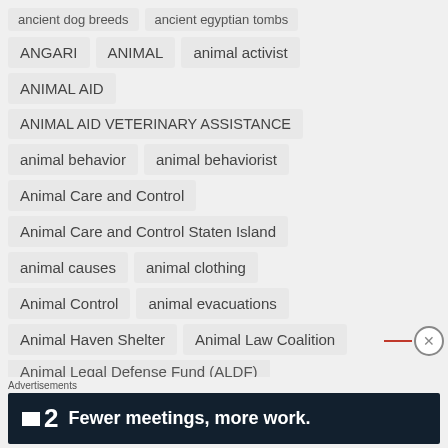ancient dog breeds
ancient egyptian tombs
ANGARI
ANIMAL
animal activist
ANIMAL AID
ANIMAL AID VETERINARY ASSISTANCE
animal behavior
animal behaviorist
Animal Care and Control
Animal Care and Control Staten Island
animal causes
animal clothing
Animal Control
animal evacuations
Animal Haven Shelter
Animal Law Coalition
Animal Legal Defense Fund (ALDF)
Advertisements
[Figure (screenshot): Dark advertisement banner: square icon + '2' and text 'Fewer meetings, more work.']